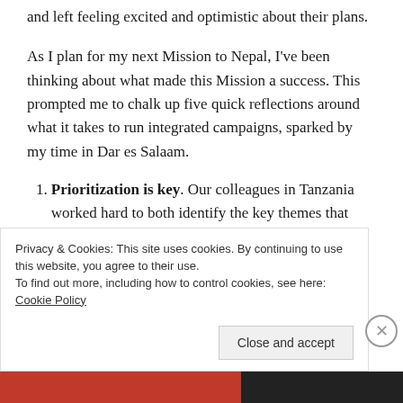and left feeling excited and optimistic about their plans.
As I plan for my next Mission to Nepal, I've been thinking about what made this Mission a success. This prompted me to chalk up five quick reflections around what it takes to run integrated campaigns, sparked by my time in Dar es Salaam.
Prioritization is key. Our colleagues in Tanzania worked hard to both identify the key themes that would benefit from advocacy, and the specific, measurable, achievable, realistic and time-bound
Privacy & Cookies: This site uses cookies. By continuing to use this website, you agree to their use.
To find out more, including how to control cookies, see here: Cookie Policy
Close and accept